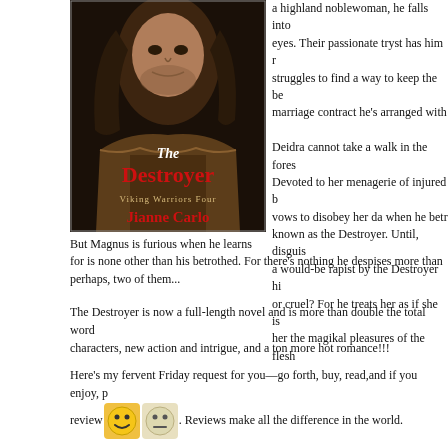[Figure (photo): Book cover of 'The Destroyer' by Jianne Carlo, Viking Warriors Four series, showing a long-haired man in fur]
a highland noblewoman, he falls into eyes. Their passionate tryst has him r struggles to find a way to keep the be marriage contract he's arranged with
Deidra cannot take a walk in the fores Devoted to her menagerie of injured b vows to disobey her da when he betr known as the Destroyer. Until, disguis a would-be rapist by the Destroyer hi or cruel? For he treats her as if she is her the magikal pleasures of the flesh
But Magnus is furious when he learns for is none other than his betrothed. For there's nothing he despises more than perhaps, two of them...
The Destroyer is now a full-length novel and is more than double the total word characters, new action and intrigue, and a ton more hot romance!!!
Here's my fervent Friday request for you—go forth, buy, read,and if you enjoy, please review. Reviews make all the difference in the world.
Have a marvelous weekend.